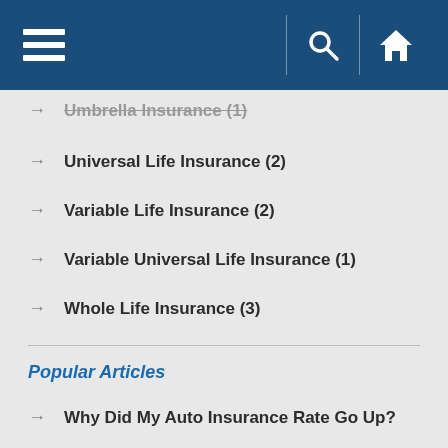Navigation bar with menu, search, and home icons
Umbrella Insurance (1)
Universal Life Insurance (2)
Variable Life Insurance (2)
Variable Universal Life Insurance (1)
Whole Life Insurance (3)
Popular Articles
Why Did My Auto Insurance Rate Go Up?
Back to School: Essential Safety Tips for